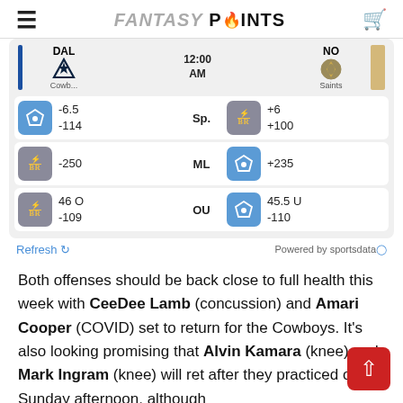FANTASY POINTS
[Figure (other): Sports betting odds widget showing DAL Cowboys vs NO Saints matchup with spread (-6.5/-114, +6/+100), moneyline (-250, +235), and over/under (46 O -109, 45.5 U -110) lines from BetRivers and Fantasy Points sportsbook.]
Refresh
Powered by sportsdata.io
Both offenses should be back close to full health this week with CeeDee Lamb (concussion) and Amari Cooper (COVID) set to return for the Cowboys. It's also looking promising that Alvin Kamara (knee) and Mark Ingram (knee) will ret after they practiced on Sunday afternoon, although